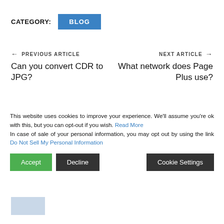CATEGORY:  BLOG
← PREVIOUS ARTICLE
Can you convert CDR to JPG?
NEXT ARTICLE →
What network does Page Plus use?
RECENT POSTS
Top Wes Anderson Films
This website uses cookies to improve your experience. We'll assume you're ok with this, but you can opt-out if you wish. Read More
In case of sale of your personal information, you may opt out by using the link Do Not Sell My Personal Information
How Much Does it Cost to Hire Software...